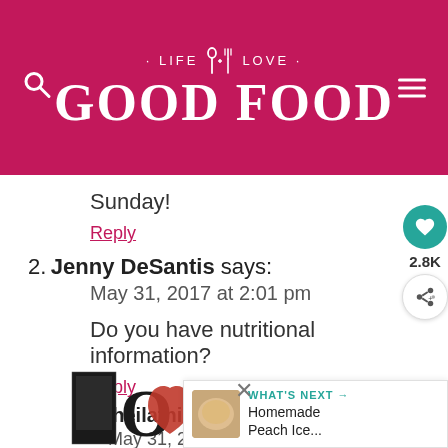· LIFE ✕ LOVE · GOOD FOOD
Sunday!
Reply
2. Jenny DeSantis says:
May 31, 2017 at 2:01 pm

Do you have nutritional information?

Reply
1. sheilathigpen says:
May 31, 2017 at 9:34 pm
[Figure (illustration): Decorative LOVE text art with ornate black-and-white lettering]